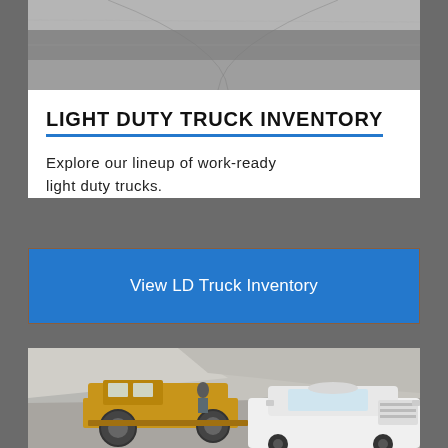[Figure (photo): Aerial or road-level photo of a paved road/asphalt surface in gray tones]
LIGHT DUTY TRUCK INVENTORY
Explore our lineup of work-ready light duty trucks.
View LD Truck Inventory
[Figure (photo): Construction site photo with a yellow motor grader/heavy equipment and a white commercial truck in a rocky/dirt terrain with a worker visible]